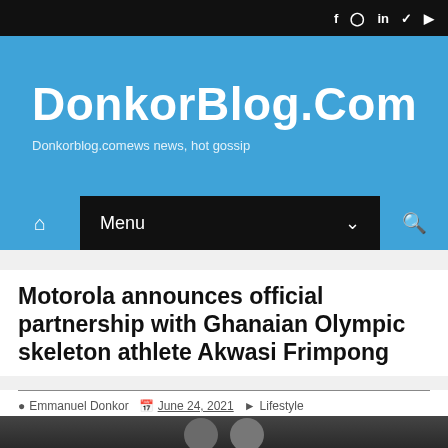DonkorBlog.Com — Donkorblog.com news, hot gossip
Motorola announces official partnership with Ghanaian Olympic skeleton athlete Akwasi Frimpong
Emmanuel Donkor  June 24, 2021  Lifestyle
[Figure (photo): Partial photo strip at the bottom of the page showing people]